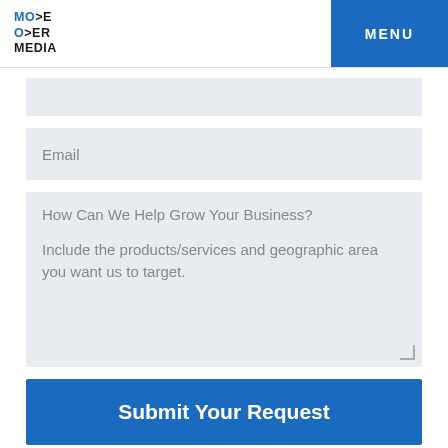MO>E O>ER MEDIA | MENU
Email
How Can We Help Grow Your Business?

Include the products/services and geographic area you want us to target.
Submit Your Request